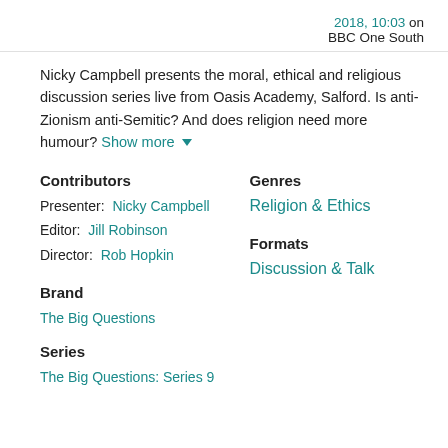2018, 10:03 on BBC One South
Nicky Campbell presents the moral, ethical and religious discussion series live from Oasis Academy, Salford. Is anti-Zionism anti-Semitic? And does religion need more humour? Show more ▾
Contributors
Presenter: Nicky Campbell
Editor: Jill Robinson
Director: Rob Hopkin
Genres
Religion & Ethics
Formats
Discussion & Talk
Brand
The Big Questions
Series
The Big Questions: Series 9